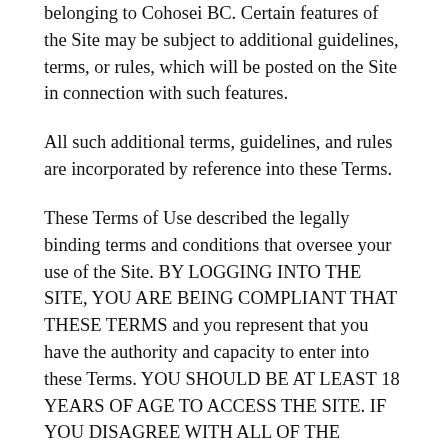belonging to Cohosei BC. Certain features of the Site may be subject to additional guidelines, terms, or rules, which will be posted on the Site in connection with such features.
All such additional terms, guidelines, and rules are incorporated by reference into these Terms.
These Terms of Use described the legally binding terms and conditions that oversee your use of the Site. BY LOGGING INTO THE SITE, YOU ARE BEING COMPLIANT THAT THESE TERMS and you represent that you have the authority and capacity to enter into these Terms. YOU SHOULD BE AT LEAST 18 YEARS OF AGE TO ACCESS THE SITE. IF YOU DISAGREE WITH ALL OF THE PROVISION OF THESE TERMS, DO NOT LOG INTO AND/OR USE THE SITE.
These terms require the use of arbitration Section